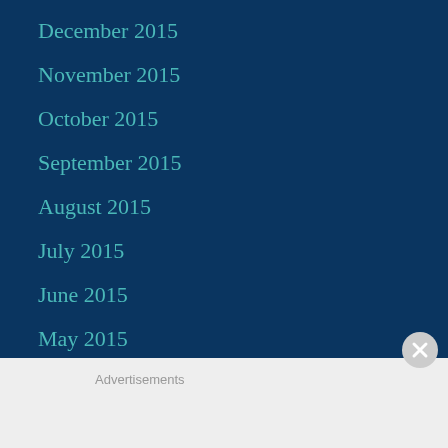December 2015
November 2015
October 2015
September 2015
August 2015
July 2015
June 2015
May 2015
Advertisements